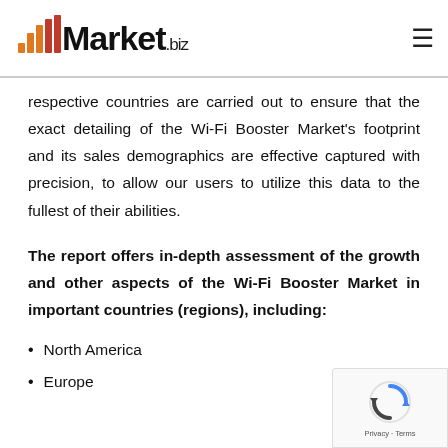Market.biz
respective countries are carried out to ensure that the exact detailing of the Wi-Fi Booster Market's footprint and its sales demographics are effective captured with precision, to allow our users to utilize this data to the fullest of their abilities.
The report offers in-depth assessment of the growth and other aspects of the Wi-Fi Booster Market in important countries (regions), including:
North America
Europe